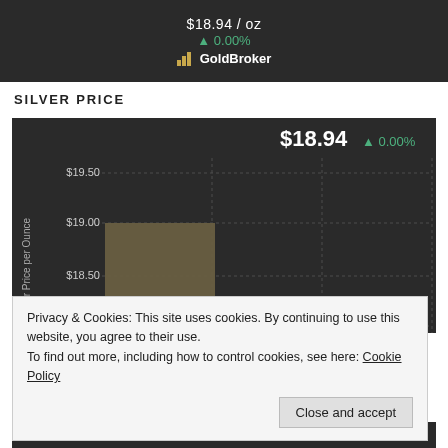[Figure (screenshot): GoldBroker logo banner showing price $18.94/oz with 0.00% change in green]
SILVER PRICE
[Figure (continuous-plot): Silver price chart on dark background showing bar around $19.00, y-axis labels $18.50, $19.00, $19.50, current price $18.94 with green arrow 0.00%, y-axis label 'Silver Price per Ounce']
Privacy & Cookies: This site uses cookies. By continuing to use this website, you agree to their use.
To find out more, including how to control cookies, see here: Cookie Policy
Close and accept
Markets Closed